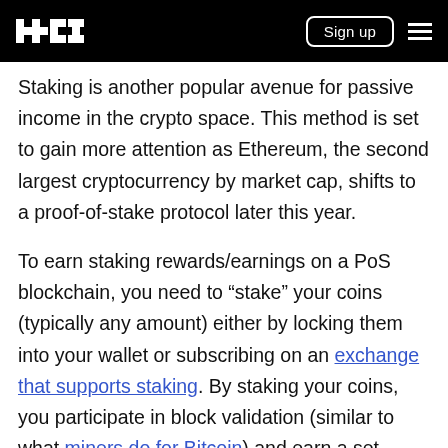OKX — Sign up
Staking is another popular avenue for passive income in the crypto space. This method is set to gain more attention as Ethereum, the second largest cryptocurrency by market cap, shifts to a proof-of-stake protocol later this year.
To earn staking rewards/earnings on a PoS blockchain, you need to “stake” your coins (typically any amount) either by locking them into your wallet or subscribing on an exchange that supports staking. By staking your coins, you participate in block validation (similar to what miners do for Bitcoin) and earn a set percentage of your stake as a reward.